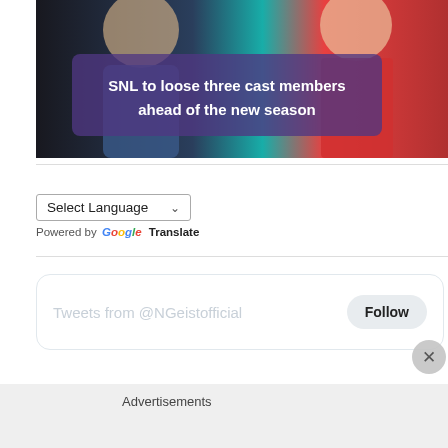[Figure (photo): Promotional image for SNL with cast members, overlaid with a semi-transparent purple banner reading 'SNL to loose three cast members ahead of the new season']
Powered by Google Translate
Tweets from @NGeistofficial  Follow
Advertisements